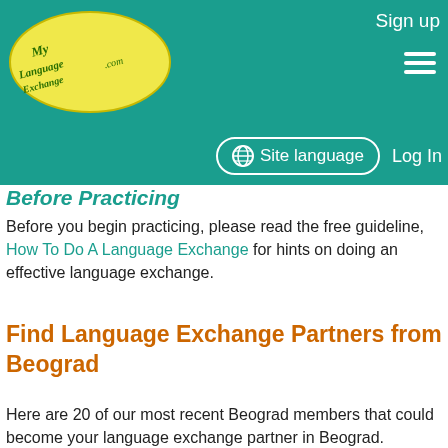MyLanguageExchange.com — Sign up | Site language | Log In
Before Practicing
Before you begin practicing, please read the free guideline, How To Do A Language Exchange for hints on doing an effective language exchange.
Find Language Exchange Partners from Beograd
Here are 20 of our most recent Beograd members that could become your language exchange partner in Beograd.
Click on a name for more information or to contact the member.
| Name |
| --- |
| [smiley face image] |
| Waiting for picture |